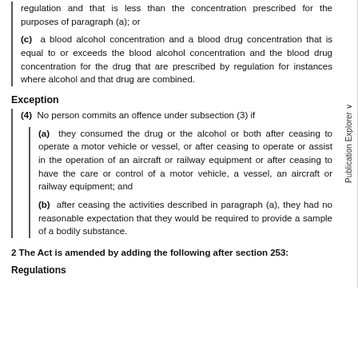regulation and that is less than the concentration prescribed for the purposes of paragraph (a); or
(c) a blood alcohol concentration and a blood drug concentration that is equal to or exceeds the blood alcohol concentration and the blood drug concentration for the drug that are prescribed by regulation for instances where alcohol and that drug are combined.
Exception
(4) No person commits an offence under subsection (3) if
(a) they consumed the drug or the alcohol or both after ceasing to operate a motor vehicle or vessel, or after ceasing to operate or assist in the operation of an aircraft or railway equipment or after ceasing to have the care or control of a motor vehicle, a vessel, an aircraft or railway equipment; and
(b) after ceasing the activities described in paragraph (a), they had no reasonable expectation that they would be required to provide a sample of a bodily substance.
2 The Act is amended by adding the following after section 253:
Regulations